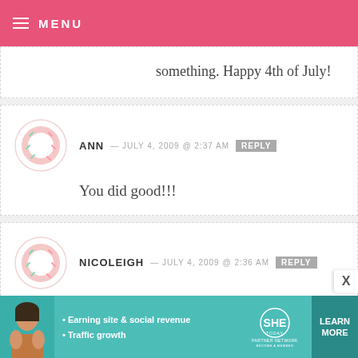MENU
something. Happy 4th of July!
ANN — JULY 4, 2009 @ 2:37 AM REPLY
You did good!!!
NICOLEIGH — JULY 4, 2009 @ 2:36 AM REPLY
Thanks so much! This is fabulous. Thanks for sharing what the 4th is really about.
[Figure (infographic): SHE Media Partner Network advertisement banner with woman photo, bullet points about earning site & social revenue and traffic growth, SHE logo, and LEARN MORE button]